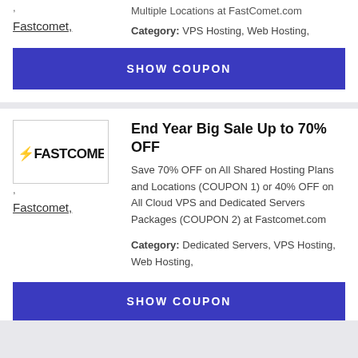Multiple Locations at FastComet.com
Category: VPS Hosting, Web Hosting,
Fastcomet,
SHOW COUPON
[Figure (logo): FastComet logo — bold black text reading FASTCOMET with a lightning bolt before it]
End Year Big Sale Up to 70% OFF
Save 70% OFF on All Shared Hosting Plans and Locations (COUPON 1) or 40% OFF on All Cloud VPS and Dedicated Servers Packages (COUPON 2) at Fastcomet.com
Category: Dedicated Servers, VPS Hosting, Web Hosting,
Fastcomet,